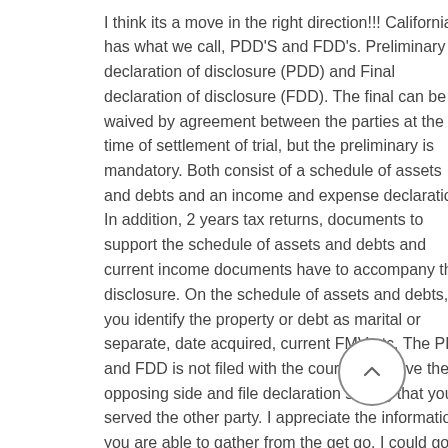I think its a move in the right direction!!! California has what we call, PDD'S and FDD's. Preliminary declaration of disclosure (PDD) and Final declaration of disclosure (FDD). The final can be waived by agreement between the parties at the time of settlement of trial, but the preliminary is mandatory. Both consist of a schedule of assets and debts and an income and expense declaration. In addition, 2 years tax returns, documents to support the schedule of assets and debts and current income documents have to accompany the disclosure. On the schedule of assets and debts, you identify the property or debt as marital or separate, date acquired, current FMV etc. The PDD and FDD is not filed with the court. You serve the opposing side and file declaration stating that you served the other party. I appreciate the information you are able to gather from the get go. I could go on